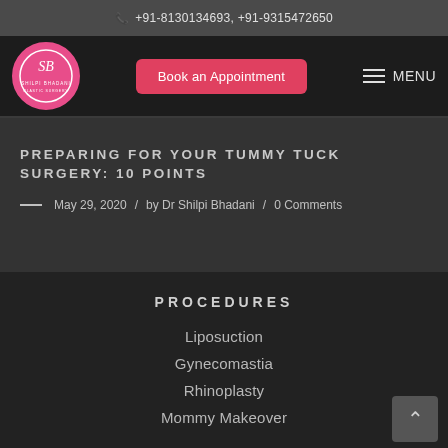+91-8130134693, +91-9315472650
[Figure (logo): SB logo circle in pink with stylized SB initials]
Book an Appointment
MENU
PREPARING FOR YOUR TUMMY TUCK SURGERY: 10 POINTS
May 29, 2020 / by Dr Shilpi Bhadani / 0 Comments
PROCEDURES
Liposuction
Gynecomastia
Rhinoplasty
Mommy Makeover